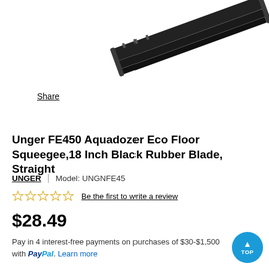[Figure (photo): Partial view of a black floor squeegee (Unger FE450 Aquadozer Eco Floor Squeegee) photographed at an angle, showing the rubber blade and handle end, positioned in the top-right of the image against a white background.]
Share
Unger FE450 Aquadozer Eco Floor Squeegee,18 Inch Black Rubber Blade, Straight
UNGER  |  Model: UNGNFE45
☆☆☆☆☆ Be the first to write a review
$28.49
Pay in 4 interest-free payments on purchases of $30-$1,500 with PayPal. Learn more